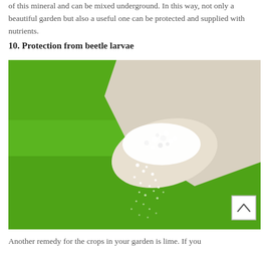of this mineral and can be mixed underground. In this way, not only a beautiful garden but also a useful one can be protected and supplied with nutrients.
10. Protection from beetle larvae
[Figure (photo): A gloved hand holding white granular lime/fertilizer material, pouring it downward against a vivid green background. A small white scroll-up arrow button appears in the lower right corner of the image.]
Another remedy for the crops in your garden is lime. If you